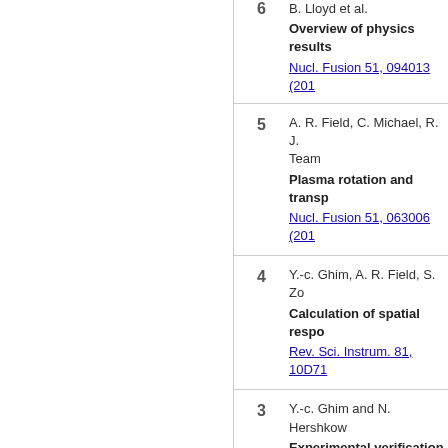| # | Authors / Title / Journal |
| --- | --- |
| 6 | B. Lloyd et al.
Overview of physics results
Nucl. Fusion 51, 094013 (201...) |
| 5 | A. R. Field, C. Michael, R. J...Team
Plasma rotation and transp...
Nucl. Fusion 51, 063006 (201...) |
| 4 | Y.-c. Ghim, A. R. Field, S. Zo...
Calculation of spatial respo...
Rev. Sci. Instrum. 81, 10D71... |
| 3 | Y.-c. Ghim and N. Hershkow...
Experimental verification o...
Appl. Phys. Lett. 94, 151503... |
| 2 | Y.-c. Ghim and N. Hershkow...
Improved double planar pr...
Rev. Sci. Instrum. 80, 033502... |
| 1 | N. Hershkowitz and Y.-c. Ghi... |